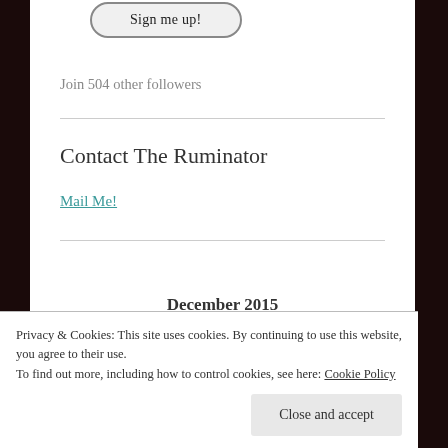[Figure (other): A rounded button labeled 'Sign me up!']
Join 504 other followers
Contact The Ruminator
Mail Me!
December 2015
Privacy & Cookies: This site uses cookies. By continuing to use this website, you agree to their use.
To find out more, including how to control cookies, see here: Cookie Policy
Close and accept